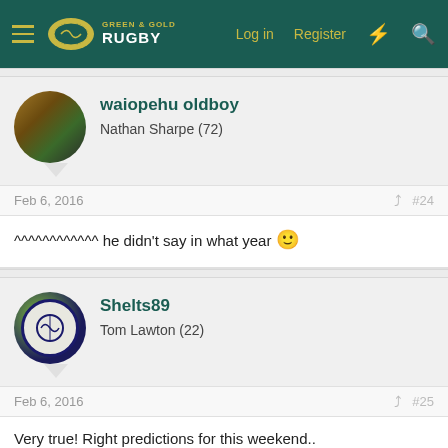Green & Gold Rugby — Log in | Register
waiopehu oldboy
Nathan Sharpe (72)
Feb 6, 2016  #24
^^^^^^^^^^^^ he didn't say in what year 🙂
Shelts89
Tom Lawton (22)
Feb 6, 2016  #25
Very true! Right predictions for this weekend..

France for a comfortable win, between 10-20 points.
England with a narrow win, between 5-10 points
Wales by less than a score... Tough game to call that one!